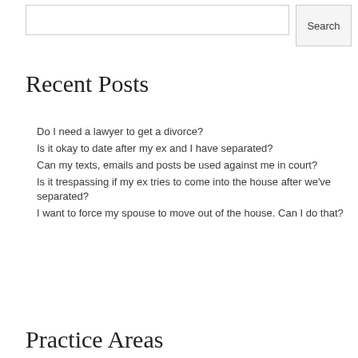Search
Recent Posts
Do I need a lawyer to get a divorce?
Is it okay to date after my ex and I have separated?
Can my texts, emails and posts be used against me in court?
Is it trespassing if my ex tries to come into the house after we've separated?
I want to force my spouse to move out of the house. Can I do that?
Practice Areas